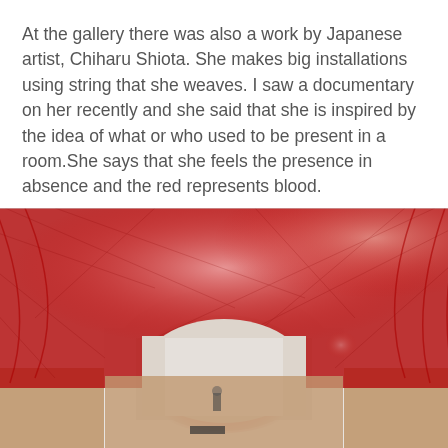At the gallery there was also a work by Japanese artist, Chiharu Shiota. She makes big installations using string that she weaves. I saw a documentary on her recently and she said that she is inspired by the idea of what or who used to be present in a room.She says that she feels the presence in absence and the red represents blood.
[Figure (photo): A large red string installation artwork by Chiharu Shiota filling a white gallery room. Dense red threads cover the ceiling and walls, creating an arch shape, with a small figure visible inside the space.]